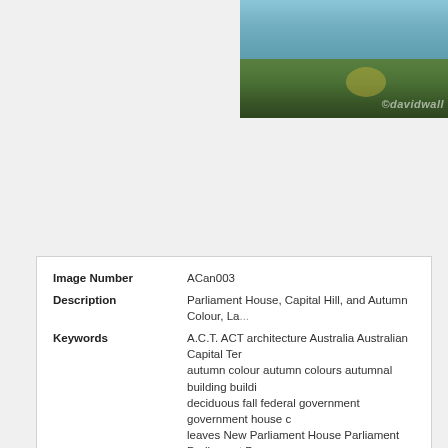[Figure (photo): Landscape photo of Parliament House, Capital Hill with autumn colours and a lake, watermarked with ©davidwall]
| Image Number | ACan003 |
| Description | Parliament House, Capital Hill, and Autumn Colour, La... |
| Keywords | A.C.T. ACT architecture Australia Australian Capital Ter... autumn colour autumn colours autumnal building buildi... deciduous fall federal government government house c... leaves New Parliament House Parliament Parliament B... seasonal seasons seat of government tree trees water... |
| Copyright: | davidwallphoto.com |
| License Type: | Rights Managed |
| Release Status: | No Release |